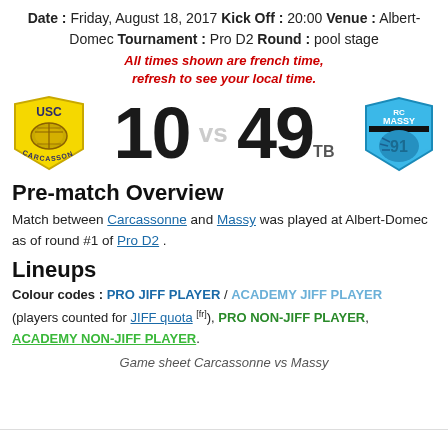Date : Friday, August 18, 2017 Kick Off : 20:00 Venue : Albert-Domec Tournament : Pro D2 Round : pool stage
All times shown are french time, refresh to see your local time.
[Figure (infographic): Scoreboard showing USC Carcassonne logo on left, score 10 vs 49 TB, RC Massy logo on right]
Pre-match Overview
Match between Carcassonne and Massy was played at Albert-Domec as of round #1 of Pro D2.
Lineups
Colour codes : PRO JIFF PLAYER / ACADEMY JIFF PLAYER (players counted for JIFF quota [fr]), PRO NON-JIFF PLAYER, ACADEMY NON-JIFF PLAYER.
Game sheet Carcassonne vs Massy